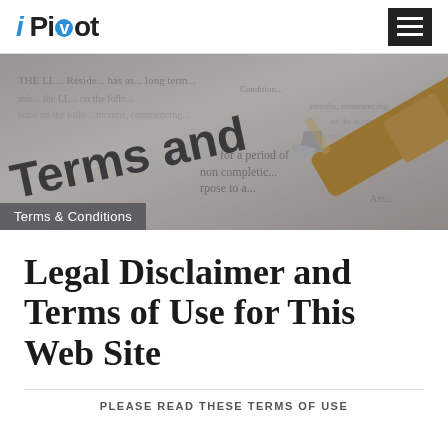i Pivot
[Figure (photo): Close-up photo of a document with 'Terms and Conditions' text printed on it, with a wooden pencil or pen resting on top. Semi-transparent dark overlay with 'Terms & Conditions' label.]
Terms & Conditions
Legal Disclaimer and Terms of Use for This Web Site
PLEASE READ THESE TERMS OF USE